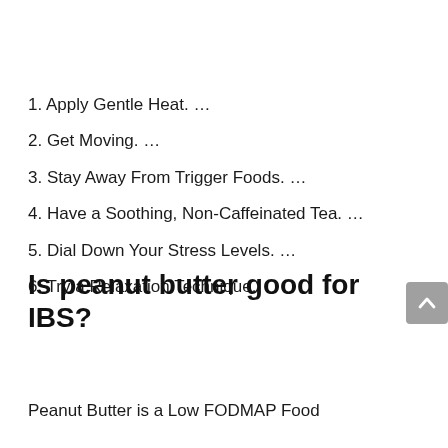1. Apply Gentle Heat. …
2. Get Moving. …
3. Stay Away From Trigger Foods. …
4. Have a Soothing, Non-Caffeinated Tea. …
5. Dial Down Your Stress Levels. …
6. Try a Relaxation Technique.
Is peanut butter good for IBS?
Peanut Butter is a Low FODMAP Food